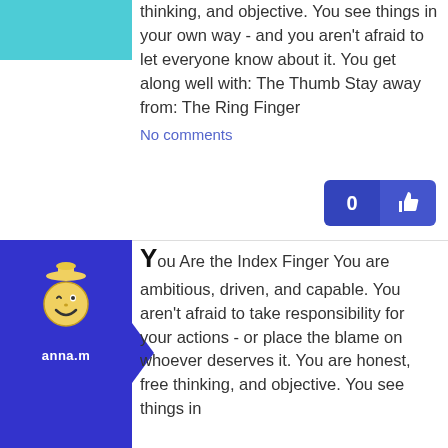[Figure (illustration): Teal/blue colored avatar block in top left]
thinking, and objective. You see things in your own way - and you aren't afraid to let everyone know about it. You get along well with: The Thumb Stay away from: The Ring Finger
No comments
[Figure (infographic): Blue like button showing count 0 and thumbs up icon]
[Figure (illustration): Blue avatar block with winking smiley face icon and username anna.m]
You Are the Index Finger You are ambitious, driven, and capable. You aren't afraid to take responsibility for your actions - or place the blame on whoever deserves it. You are honest, free thinking, and objective. You see things in